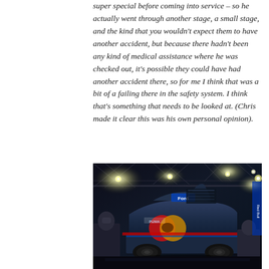super special before coming into service – so he actually went through another stage, a small stage, and the kind that you wouldn't expect them to have another accident, but because there hadn't been any kind of medical assistance where he was checked out, it's possible they could have had another accident there, so for me I think that was a bit of a failing there in the safety system. I think that's something that needs to be looked at. (Chris made it clear this was his own personal opinion).
[Figure (photo): A dark nighttime photo of a rally car (appears to be a Ford with Red Bull livery) in a service park or garage. Mechanics are working on the car under bright spotlights with metal truss structures visible overhead.]